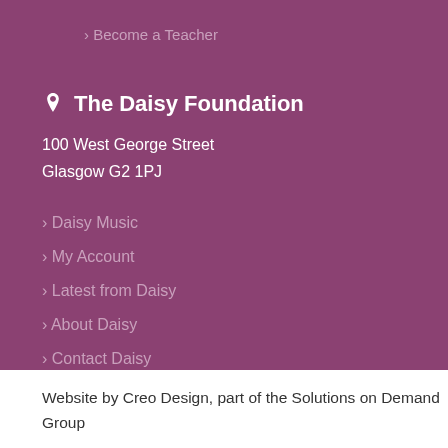› Become a Teacher
The Daisy Foundation
100 West George Street
Glasgow G2 1PJ
› Daisy Music
› My Account
› Latest from Daisy
› About Daisy
› Contact Daisy
Website by Creo Design, part of the Solutions on Demand Group